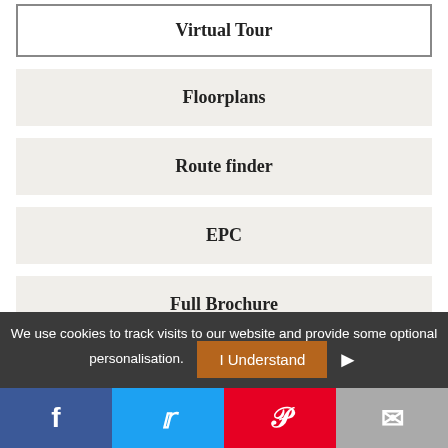Virtual Tour
Floorplans
Route finder
EPC
Full Brochure
Send me updates
We use cookies to track visits to our website and provide some optional personalisation.
I Understand
f
t
P
✉